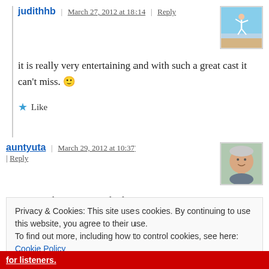judithhb | March 27, 2012 at 18:14 | Reply
[Figure (photo): Avatar photo of judithhb: person jumping on a beach]
it is really very entertaining and with such a great cast it can't miss. 🙂
★ Like
auntyuta | March 29, 2012 at 10:37 | Reply
[Figure (photo): Avatar photo of auntyuta: elderly woman smiling]
I've seen it here in Australia last
Privacy & Cookies: This site uses cookies. By continuing to use this website, you agree to their use.
To find out more, including how to control cookies, see here: Cookie Policy
Close and accept
for listeners.